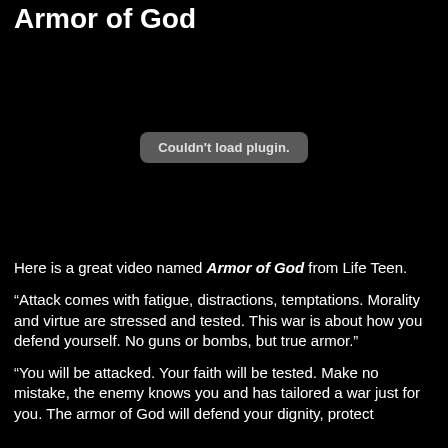Armor of God
[Figure (other): Embedded video plugin area displaying 'Couldn't load plugin.' message on black background]
Here is a great video named Armor of God from Life Teen.
“Attack comes with fatigue, distractions, temptations. Morality and virtue are stressed and tested. This war is about how you defend yourself. No guns or bombs, but true armor.”
“You will be attacked. Your faith will be tested. Make no mistake, the enemy knows you and has tailored a war just for you. The armor of God will defend your dignity, protect